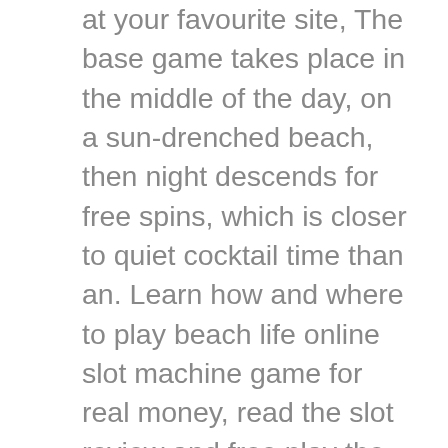at your favourite site, The base game takes place in the middle of the day, on a sun-drenched beach, then night descends for free spins, which is closer to quiet cocktail time than an. Learn how and where to play beach life online slot machine game for real money, read the slot review and free play the demo. Play all slots by playtech. Aristocrat's awesome timber wolf deluxe free pokies machine game is a must play online slot. Beach bounty gold stacks free aristocrat social slot. 2 for 1 new player bonus. Place your first bet with the barstool sportsbook app and if that bet loses, get an equal free bet up to $1,000 in online bonus. Slots temple strives to bring online gamers the experience they're looking for, and sam on the beach is just what players have been looking for. Free parking · free wifi · non-smoking rooms · concierge · spa · beach · resort · on-site restaurant. Eric martin